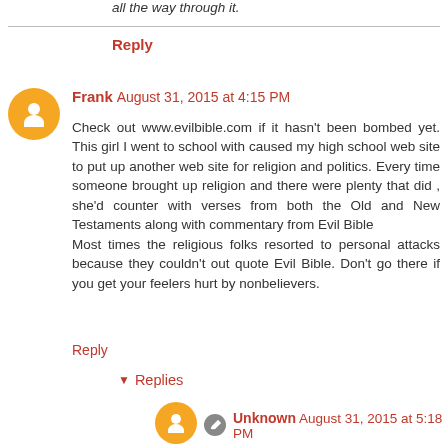all the way through it.
Reply
Frank  August 31, 2015 at 4:15 PM
Check out www.evilbible.com if it hasn't been bombed yet. This girl I went to school with caused my high school web site to put up another web site for religion and politics. Every time someone brought up religion and there were plenty that did , she'd counter with verses from both the Old and New Testaments along with commentary from Evil Bible
Most times the religious folks resorted to personal attacks because they couldn't out quote Evil Bible. Don't go there if you get your feelers hurt by nonbelievers.
Reply
▾  Replies
Unknown  August 31, 2015 at 5:18 PM